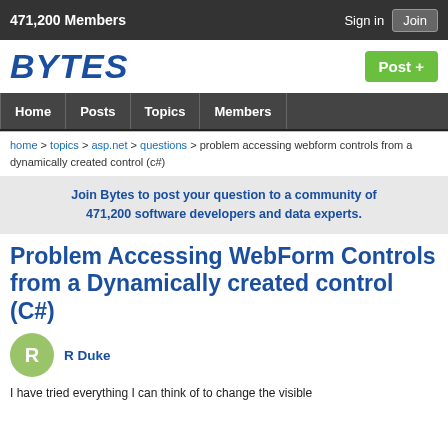471,200 Members   Sign in   Join
BYTES
Post +
Home  Posts  Topics  Members
home > topics > asp.net > questions > problem accessing webform controls from a dynamically created control (c#)
Join Bytes to post your question to a community of 471,200 software developers and data experts.
Problem Accessing WebForm Controls from a Dynamically created control (C#)
R Duke
I have tried everything I can think of to change the visible